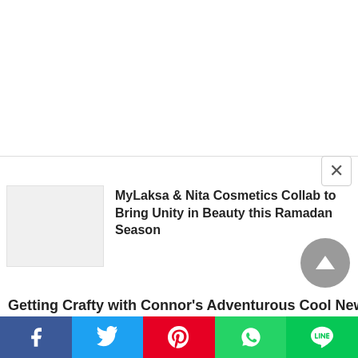[Figure (screenshot): Close button (X) for a modal overlay in top-right area]
[Figure (photo): Small thumbnail image placeholder (light gray) for article about MyLaksa & Nita Cosmetics]
MyLaksa & Nita Cosmetics Collab to Bring Unity in Beauty this Ramadan Season
Getting Crafty with Connor's Adventurous Cool New
[Figure (infographic): Social share bar with Facebook, Twitter, Pinterest, WhatsApp, and LINE buttons]